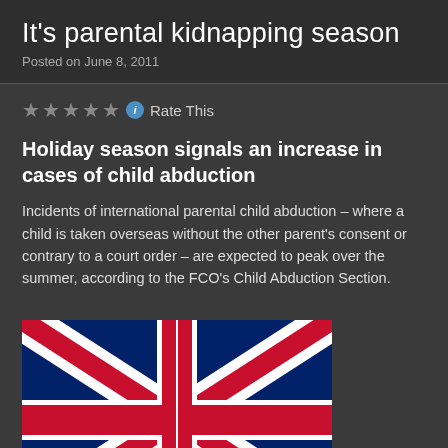It's parental kidnapping season
Posted on June 8, 2011
★★★★★ ℹ Rate This
Holiday season signals an increase in cases of child abduction
Incidents of international parental child abduction – where a child is taken overseas without the other parent's consent or contrary to a court order – are expected to peak over the summer, according to the FCO's Child Abduction Section.
[Figure (photo): Union Jack / UK flag image]